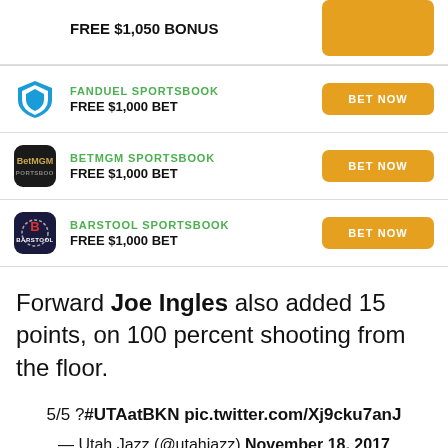[Figure (other): Partial top ad row showing FREE $1,050 BONUS offer with orange BET NOW button (cropped)]
[Figure (other): FanDuel Sportsbook ad row with shield logo, FREE $1,000 BET offer and orange BET NOW button]
[Figure (other): BetMGM Sportsbook ad row with dark logo, FREE $1,000 BET offer and orange BET NOW button]
[Figure (other): Barstool Sportsbook ad row with dark navy logo, FREE $1,000 BET offer and orange BET NOW button]
Forward Joe Ingles also added 15 points, on 100 percent shooting from the floor.
5/5 ?#UTAatBKN pic.twitter.com/Xj9cku7anJ
— Utah Jazz (@utahjazz) November 18, 2017